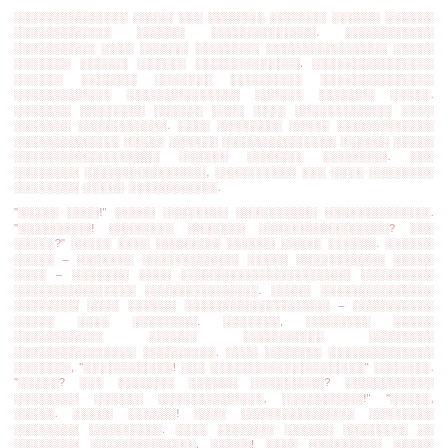░░░░░░░░░░░░░░ ░░░░░ ░░░ ░░░░░░░ ░░░░░░░ ░░░░░░ ░░░░░░ ░░░░░░░░░░░░ ░░░░░░ ░░░░░░░░░░░░░. ░░░░░░░░░░░ ░░░░░░░░░░ ░░░░ ░░░░░░ ░░░░░░░░ ░░░░░░░░░░░░░░░ ░░░░░ ░░░░░░░ ░░░░░░ ░░░░░░ ░░░░░░░░░░░░░. ░░░░░░░░░░░░░░░ ░░░░░░ ░░░░░░░ ░░░░░░░ ░░░░░░░░░ ░░░░░░░░░░░░░░ ░░░░░░░░░░░░ ░░░░░░░░░░░░░░ ░░░░░░ ░░░░░░░ ░░░░░. ░░░░░░░ ░░░░░░░░ ░░░░░░ ░░░░ ░░░░ ░░░░░░░░░░░░ ░░░░ ░░░░░░░ ░░░░░░░░░░░. ░░░░ ░░░░░░░░ ░░░░░ ░░░░░░░░░░░░ ░░░░░░░░░░░░░ ░░░░░ ░░░░░░ ░░░░░░░░░░░░░░ ░░░░░░ ░░░░░ ░░░░░░░░░░░░░░░░░░ ░░░░░░ ░░░░░░░ ░░░░░░░░. ░░░ ░░░░░░░░ ░░░░░░░░░░░░░░░, ░░░░░░░░░░ ░░░ ░░░░ ░░░░░░░░ ░░░░░░░░ ░░░░░ ░░░░░░░░░░░.
"░░░░░ ░░░░!" ░░░░░ ░░░░░░░░ ░░░░░░░░░░ ░░░░░░░░░░░░░. "░░░░░░░░░! ░░░░░░░░ ░░░░░░░ ░░░░░░░░░░░░░░░░? ░░░ ░░░░░?" ░░░░░ ░░░░ ░░░░░░░░ ░░░░░░ ░░░░░ ░░░░░░. ░░░░░░ ░░░░░ - ░░░░░░░ ░░░░░░░░░░░░ ░░░░░ ░░░░░░░░░░░ ░░░░░ ░░░░ - ░░░░░░░ ░░░░ ░░░░░░░░░░░░░░░░░░░░░ ░░░░░░░░░ ░░░░░░░░░░░░░░░ ░░░░░░░░░░░░░░. ░░░░░ ░░░░░░░░░░░░░░ ░░░░░░░░ ░░░░ ░░░░░░ ░░░░░░░░░░░░░░░░░░ - ░░░░░░░░░░ ░░░░░ ░░░░ ░░░░░░░░. ░░░░░░░, ░░░░░░░░ ░░░░░ ░░░░░░░░░░░ ░░░░░░ ░░░░░░░░░░ ░░░░░░░░ ░░░░░░░░░░░░░░░ ░░░░░░░░░. ░░░░ ░░░░░░░ ░░░░░░░░░░░░░ ░░░░░░░, "░░░░░░░░░░░! ░░░ ░░░░░░░░░░░░░░░░░░░" ░░░░░░░. "░░░░░? ░░░ ░░░░░░░ ░░░░░░ ░░░░░░░░░? ░░░░░░░░░░░ ░░░░░░░░ ░░░░░░ ░░░░░░░░░░░░░, ░░░░░░░░░░!" "░░░░░, ░░░░░. ░░░░░ ░░░░░░! ░░░░ ░░░░░░░░░░░░░░ ░░░░░░░░ ░░░░░░░░ ░░░░░░░░░. ░░░░ ░░░░░░░ ░░░░░░ ░░░░░░░░ ░░ ░░░░░░░░ ░░░░░░░░░░░░░, ░░░░░! ░░░░ ░░░░░░░░░ ░░░░░ ░░░░ ░░░░░░░░░░░..."